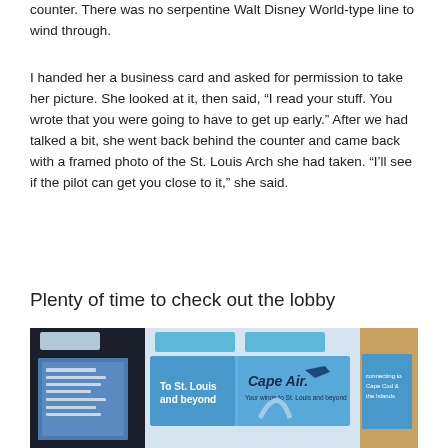counter. There was no serpentine Walt Disney World-type line to wind through.
I handed her a business card and asked for permission to take her picture. She looked at it, then said, “I read your stuff. You wrote that you were going to have to get up early.” After we had talked a bit, she went back behind the counter and came back with a framed photo of the St. Louis Arch she had taken. “I’ll see if the pilot can get you close to it,” she said.
Plenty of time to check out the lobby
[Figure (photo): Interior photo of an airport lobby showing Cape Air signage and promotional posters with St. Louis Arch imagery. Text reads 'Cape Air. Your wings to St. Louis and beyond' and 'To St. Louis and beyond'.]